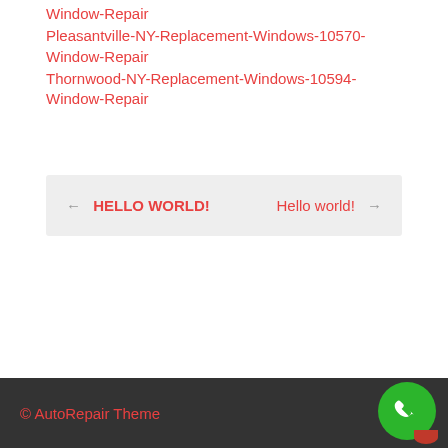Window-Repair
Pleasantville-NY-Replacement-Windows-10570-Window-Repair
Thornwood-NY-Replacement-Windows-10594-Window-Repair
← HELLO WORLD!    Hello world! →
© AutoRepair Theme